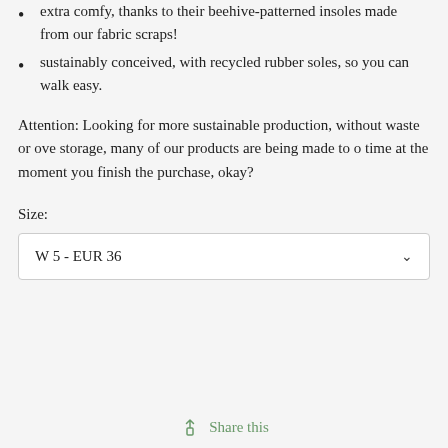extra comfy, thanks to their beehive-patterned insoles made from our fabric scraps!
sustainably conceived, with recycled rubber soles, so you can walk easy.
Attention: Looking for more sustainable production, without waste or over storage, many of our products are being made to order time at the moment you finish the purchase, okay?
Size:
W 5 - EUR 36
Share this